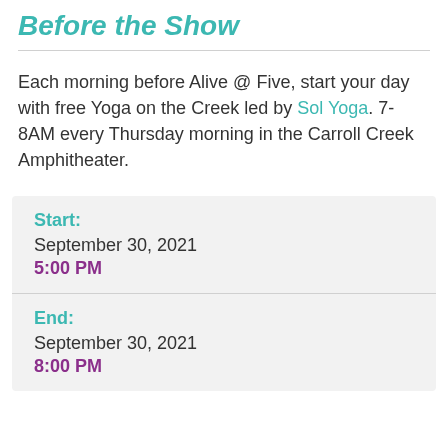Before the Show
Each morning before Alive @ Five, start your day with free Yoga on the Creek led by Sol Yoga. 7-8AM every Thursday morning in the Carroll Creek Amphitheater.
Start: September 30, 2021 5:00 PM
End: September 30, 2021 8:00 PM